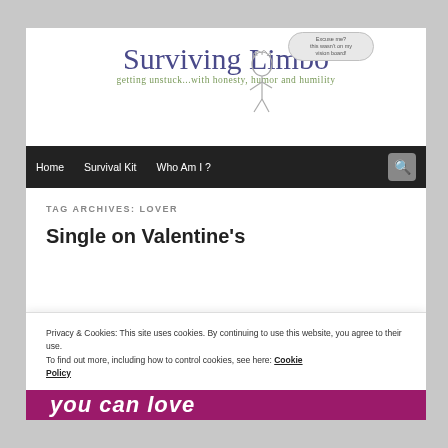[Figure (illustration): Surviving Limbo blog header with illustrated figure and speech bubble saying 'Excuse me? this wasn't on my vision board!']
Surviving Limbo
getting unstuck...with honesty, humor and humility
Home   Survival Kit   Who Am I ?
TAG ARCHIVES: LOVER
Single on Valentine's
Privacy & Cookies: This site uses cookies. By continuing to use this website, you agree to their use.
To find out more, including how to control cookies, see here: Cookie Policy
Close and accept
you can love